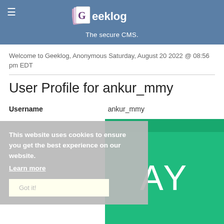Geeklog — The secure CMS.
Welcome to Geeklog, Anonymous Saturday, August 20 2022 @ 08:56 pm EDT
User Profile for ankur_mmy
| Username |  |
| --- | --- |
| Username | ankur_mmy |
This website uses cookies to ensure you get the best experience on our website. Learn more Got it!
[Figure (illustration): Green avatar box with initials AY in white large font]